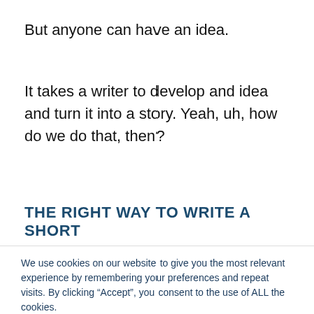But anyone can have an idea.
It takes a writer to develop and idea and turn it into a story. Yeah, uh, how do we do that, then?
THE RIGHT WAY TO WRITE A SHORT
We use cookies on our website to give you the most relevant experience by remembering your preferences and repeat visits. By clicking “Accept”, you consent to the use of ALL the cookies.
Do not sell my personal information.